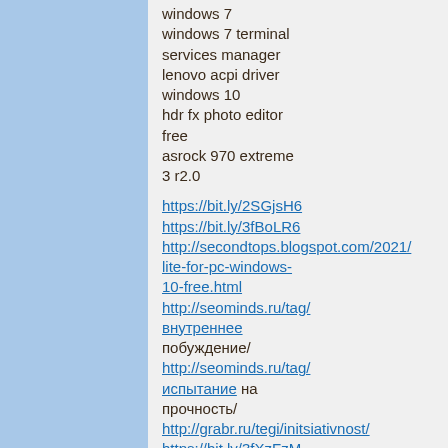windows 7
windows 7 terminal services manager
lenovo acpi driver windows 10
hdr fx photo editor free
asrock 970 extreme 3 r2.0
https://bit.ly/2SGjsH6
https://bit.ly/3fBoLR6
http://secondtops.blogspot.com/2021/lite-for-pc-windows-10-free.html
http://seominds.ru/tag/внутреннее побуждение/
http://seominds.ru/tag/испытание на прочность/
http://grabr.ru/tegi/initsiativnost/
https://bit.ly/3fXzFzM